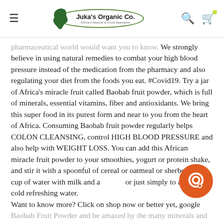Juka's Organic Co.
pharmaceutical world would want you to know. We strongly believe in using natural remedies to combat your high blood pressure instead of the medication from the pharmacy and also regulating your diet from the foods you eat. #Covid19. Try a jar of Africa's miracle fruit called Baobab fruit powder, which is full of minerals, essential vitamins, fiber and antioxidants. We bring this super food in its purest form and near to you from the heart of Africa. Consuming Baobab fruit powder regularly helps COLON CLEANSING, control HIGH BLOOD PRESSURE and also help with WEIGHT LOSS. You can add this African miracle fruit powder to your smoothies, yogurt or protein shake, and stir it with a spoonful of cereal or oatmeal or sherbet or a cup of water with milk and a… or just simply to a cup of cold refreshing water. Want to know more? Click on shop now or better yet, google Baobab Fruit Powder and be amazed by the many minerals and